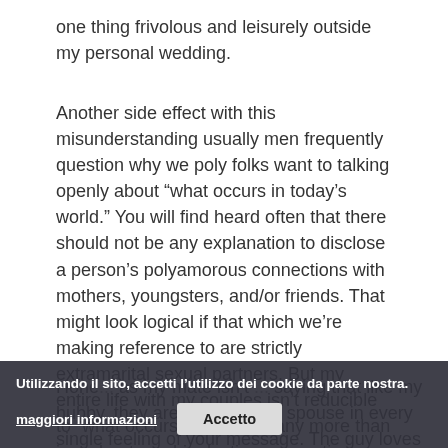one thing frivolous and leisurely outside my personal wedding.
Another side effect with this misunderstanding usually men frequently question why we poly folks want to talking openly about “what occurs in today’s world.” You will find heard often that there should not be any explanation to disclose a person’s polyamorous connections with mothers, youngsters, and/or friends. That might look logical if that which we’re making reference to are strictly extramarital sexual partners. But my entire life with my couples isn’t reducible to “what occurs nowadays” any more than just about any big, lasting connection are. We discuss a property and a life; we’re a family group.
Hone... as my mate isn’t ... saying that like my hubby, they are my personal spouse in every single feeling of your message. The guy loves me personally and...
Utilizzando il sito, accetti l’utilizzo dei cookie da parte nostra.
maggiori informazioni
Accetto